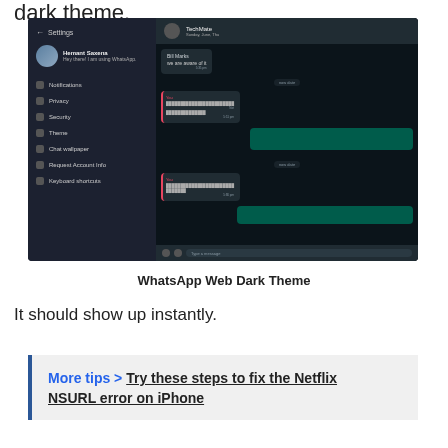dark theme.
[Figure (screenshot): WhatsApp Web dark theme screenshot showing Settings panel on left with menu items (Notifications, Privacy, Security, Theme, Chat wallpaper, Request Account Info, Keyboard shortcuts) and a chat conversation on the right with dark background.]
WhatsApp Web Dark Theme
It should show up instantly.
More tips >  Try these steps to fix the Netflix NSURL error on iPhone